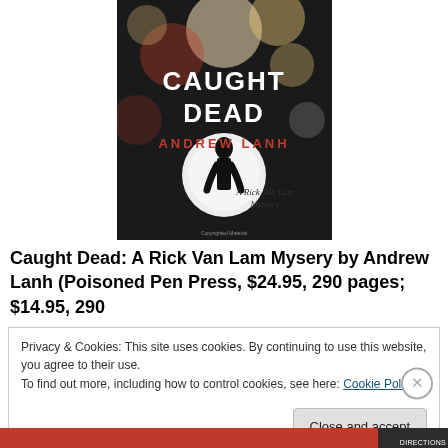[Figure (photo): Book cover of 'Caught Dead: A Rick Van Lam Mystery' by Andrew Lanh, published by Poisoned Pen Press. Dark background with bokeh lights, silhouette of a woman figure, and red and white text.]
Caught Dead: A Rick Van Lam Mysery by Andrew Lanh (Poisoned Pen Press, $24.95, 290 pages; $14.95, 290
Privacy & Cookies: This site uses cookies. By continuing to use this website, you agree to their use.
To find out more, including how to control cookies, see here: Cookie Policy